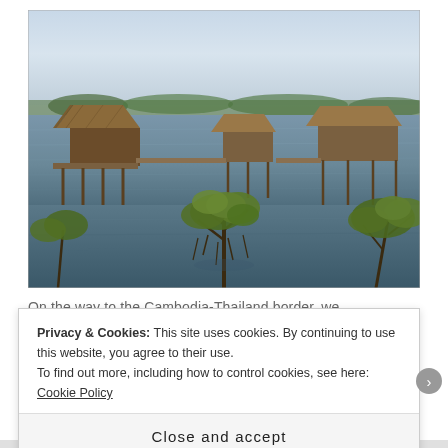[Figure (photo): Overwater bungalows/huts on stilts over a wide river or lake, with mangrove trees visible in the foreground and a hazy sky and tree line in the background. The scene appears to be in Southeast Asia near the Cambodia-Thailand border.]
On the way to the Cambodia-Thailand border, we
Privacy & Cookies: This site uses cookies. By continuing to use this website, you agree to their use.
To find out more, including how to control cookies, see here: Cookie Policy
Close and accept